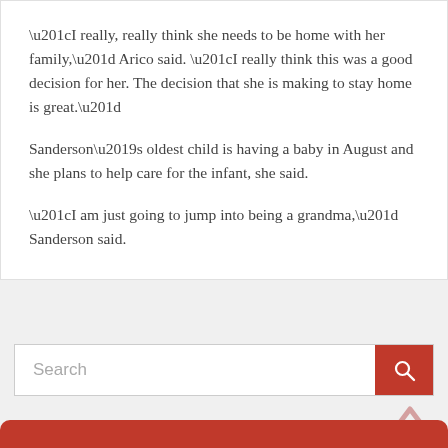“I really, really think she needs to be home with her family,” Arico said. “I really think this was a good decision for her. The decision that she is making to stay home is great.”
Sanderson’s oldest child is having a baby in August and she plans to help care for the infant, she said.
“I am just going to jump into being a grandma,” Sanderson said.